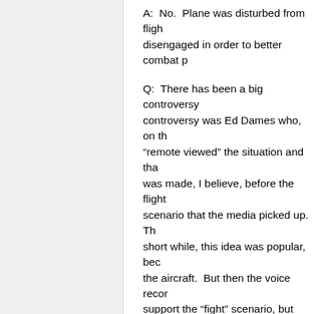A:  No.  Plane was disturbed from fligh disengaged in order to better combat p
Q:  There has been a big controversy controversy was Ed Dames who, on th “remote viewed” the situation and tha was made, I believe, before the flight scenario that the media picked up.  Th short while, this idea was popular, bec the aircraft.  But then the voice recor support the “fight” scenario, but there made by the co-pilot who was, appare began.  Then, the pilot returned and t forth, so the next scenario proposed w suicide in a big way.  As a result of this NTSB and FBI trying to fit the clues t making the rounds of the internet rum the “powers that be,” and that he delib come along and validate it to give him plant more and greater rumors and st